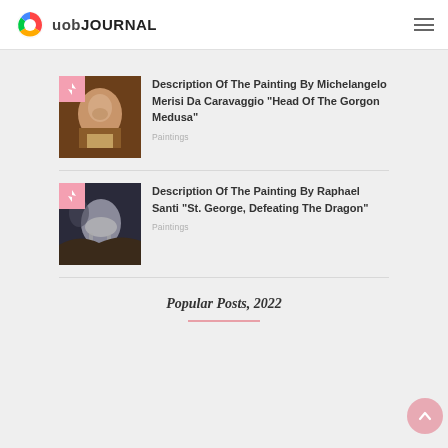uob JOURNAL
[Figure (illustration): UOB Journal logo with rainbow circular icon and text 'uobJOURNAL']
Description Of The Painting By Michelangelo Merisi Da Caravaggio "Head Of The Gorgon Medusa"
Paintings
Description Of The Painting By Raphael Santi “St. George, Defeating The Dragon”
Paintings
Popular Posts, 2022